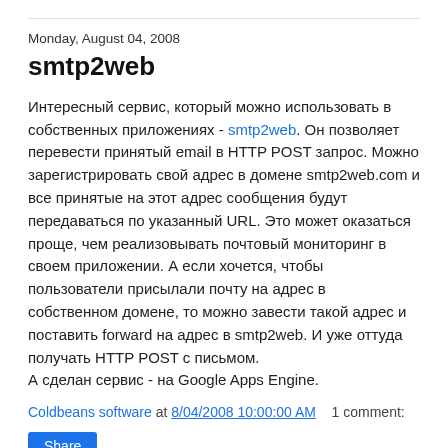Monday, August 04, 2008
smtp2web
Интересный сервис, который можно использовать в собственных приложениях - smtp2web. Он позволяет перевести принятый email в HTTP POST запрос. Можно зарегистрировать свой адрес в домене smtp2web.com и все принятые на этот адрес сообщения будут передаваться по указанный URL. Это может оказаться проще, чем реализовывать почтовый мониторинг в своем приложении. А если хочется, чтобы пользователи присылали почту на адрес в собственном домене, то можно завести такой адрес и поставить forward на адрес в smtp2web. И уже оттуда получать HTTP POST с письмом.
А сделан сервис - на Google Apps Engine.
Coldbeans software at 8/04/2008 10:00:00 AM   1 comment:
Share